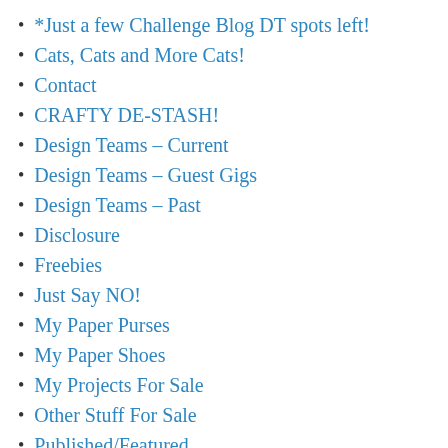*Just a few Challenge Blog DT spots left!
Cats, Cats and More Cats!
Contact
CRAFTY DE-STASH!
Design Teams – Current
Design Teams – Guest Gigs
Design Teams – Past
Disclosure
Freebies
Just Say NO!
My Paper Purses
My Paper Shoes
My Projects For Sale
Other Stuff For Sale
Published/Featured
Wins & Top Pick Honors – 2011-2014